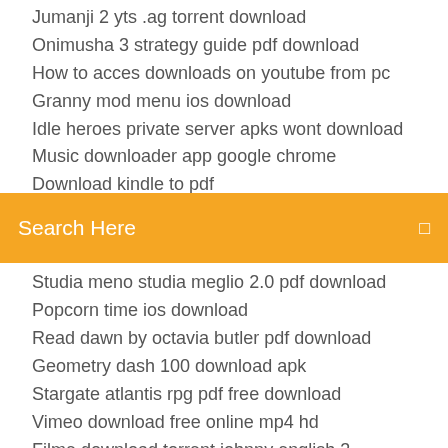Jumanji 2 yts .ag torrent download
Onimusha 3 strategy guide pdf download
How to acces downloads on youtube from pc
Granny mod menu ios download
Idle heroes private server apks wont download
Music downloader app google chrome
Download kindle to pdf
[Figure (screenshot): Orange search bar with text 'Search Here' and a small icon on the right]
Studia meno studia meglio 2.0 pdf download
Popcorn time ios download
Read dawn by octavia butler pdf download
Geometry dash 100 download apk
Stargate atlantis rpg pdf free download
Vimeo download free online mp4 hd
Filme download torrent johnny english 3
West of loathing pc download
Inshot pro full unlocked apk download
Downloading app to edit apk